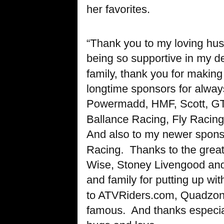her favorites.
“Thank you to my loving husband for building championship bikes and for being so supportive in my decision to retire,” she said.  “To my Yamaha family, thank you for making my dreams come true.  Thanks to my longtime sponsors for always believing in me: GYTR, Maxxis, Hiper, Powermadd, HMF, Scott, GT Thunder, Yamalube, Works Connection, Ballance Racing, Fly Racing, Precision, Wiseco, DP Brakes and Tireballs.  And also to my newer sponsors: Rekluse, Quadtech, G4 and Big Nutz Racing.  Thanks to the greatest pit crew ever: Johnny Gallagher, Jim Wise, Stoney Livengood and Todd Moskala.  A huge thank you to my mom and family for putting up with my crazy passion of racing, and a shout out to ATVRiders.com, Quadzone, and X-Country photos for making us all famous.  And thanks especially to my fans and my GNCC family for all the hugs and love